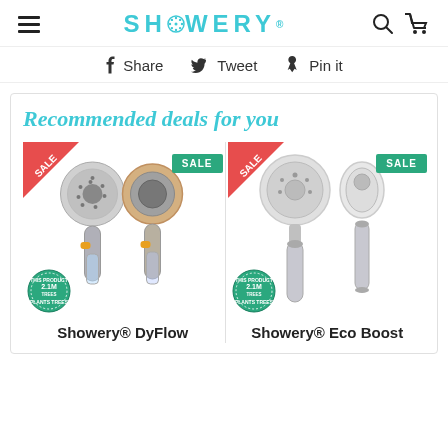SHOWERY
Share  Tweet  Pin it
Recommended deals for you
[Figure (photo): Two Showery DyFlow shower heads with SALE badges and Plants Trees badge]
Showery® DyFlow
[Figure (photo): Two Showery Eco Boost shower heads with SALE badges and Plants Trees badge]
Showery® Eco Boost